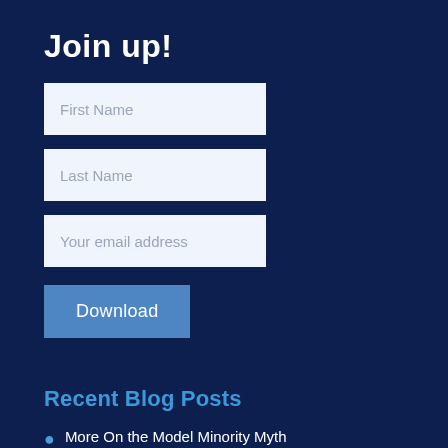Join up!
First Name
Last Name
Your email address
Download
Recent Blog Posts
More On the Model Minority Myth
Stop Mass Shootings: Fix American Gun Culture, Fix the Gun Problem – From Canada with Love
White replacement theory is not fringe